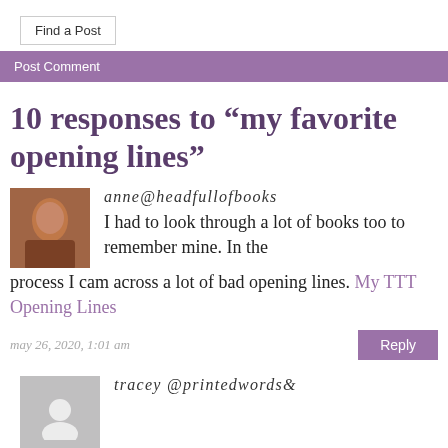Find a Post
Post Comment
10 responses to “my favorite opening lines”
anne@headfullofbooks
I had to look through a lot of books too to remember mine. In the process I cam across a lot of bad opening lines. My TTT Opening Lines
may 26, 2020, 1:01 am
tracey @printedwords&